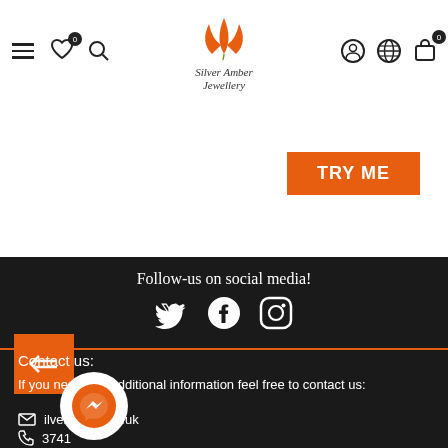[Figure (logo): SilverAmber Jewellery logo with orange flame/leaf motif and italic script text]
[Figure (screenshot): TRY ME orange button in header area]
Follow-us on social media!
[Figure (illustration): Social media icons: Twitter, Facebook, Instagram in white on dark background]
[Figure (illustration): Orange back/collapse button with left arrow icon]
Contact us:
If you need any additional information feel free to contact us:
ilveramber.co.uk
3741
[Figure (illustration): Orange Messenger chat bubble icon in white circle]